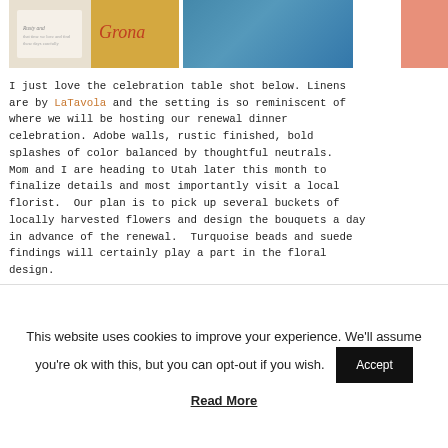[Figure (photo): Top photo strip showing stationery/invitation cards on left (white card with cursive text 'Rusty and...' on orange/blue background) and an orange card with handwritten cursive 'Grona' on right, plus a salmon/coral accent image at far right.]
I just love the celebration table shot below.  Linens are by LaTavola and the setting is so reminiscent of where we will be hosting our renewal dinner celebration.  Adobe walls, rustic finished, bold splashes of color balanced by thoughtful neutrals.    Mom and I are heading to Utah later this month to finalize details and most importantly visit a local florist.  Our plan is to pick up several buckets of locally harvested flowers and design the bouquets a day in advance of the renewal.  Turquoise beads and suede findings will certainly play a part in the floral design.
[Figure (photo): Bottom photo strip: left side shows a rustic dining room with long table set for a celebration dinner with adobe walls and arched windows; right side top shows turquoise stones/beads; right side bottom shows colorful woven textile/fabric stripes.]
This website uses cookies to improve your experience. We'll assume you're ok with this, but you can opt-out if you wish.
Accept
Read More